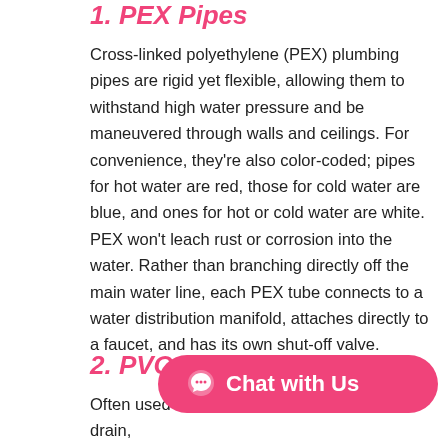1. PEX Pipes
Cross-linked polyethylene (PEX) plumbing pipes are rigid yet flexible, allowing them to withstand high water pressure and be maneuvered through walls and ceilings. For convenience, they're also color-coded; pipes for hot water are red, those for cold water are blue, and ones for hot or cold water are white. PEX won't leach rust or corrosion into the water. Rather than branching directly off the main water line, each PEX tube connects to a water distribution manifold, attaches directly to a faucet, and has its own shut-off valve.
2. PVC Pipes
Often used for drain, polyvinyl chloride (PV temperature, low pressure applications. Up to
[Figure (other): Pink chat button with speech bubble icon and text 'Chat with Us']